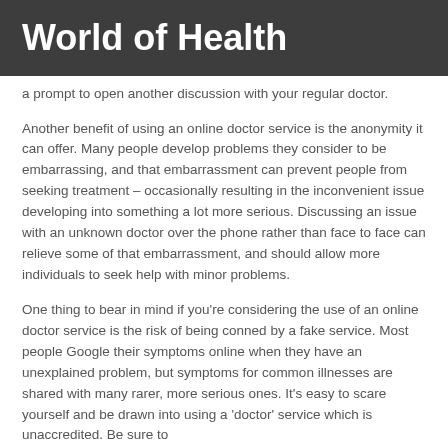World of Health
a prompt to open another discussion with your regular doctor.
Another benefit of using an online doctor service is the anonymity it can offer. Many people develop problems they consider to be embarrassing, and that embarrassment can prevent people from seeking treatment – occasionally resulting in the inconvenient issue developing into something a lot more serious. Discussing an issue with an unknown doctor over the phone rather than face to face can relieve some of that embarrassment, and should allow more individuals to seek help with minor problems.
One thing to bear in mind if you're considering the use of an online doctor service is the risk of being conned by a fake service. Most people Google their symptoms online when they have an unexplained problem, but symptoms for common illnesses are shared with many rarer, more serious ones. It's easy to scare yourself and be drawn into using a 'doctor' service which is unaccredited. Be sure to